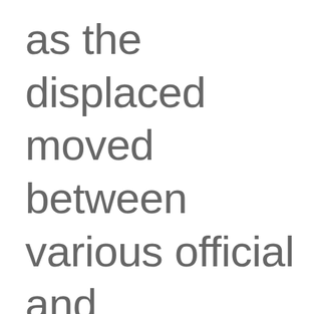as the displaced moved between various official and community shelters in search of food, tracking people down to follow up